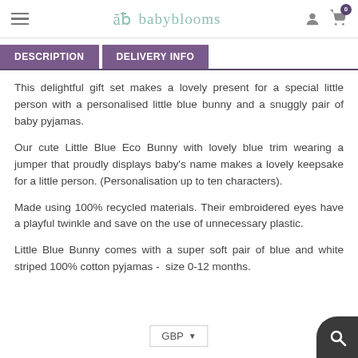babyblooms
DESCRIPTION | DELIVERY INFO
This delightful gift set makes a lovely present for a special little person with a personalised little blue bunny and a snuggly pair of baby pyjamas.
Our cute Little Blue Eco Bunny with lovely blue trim wearing a jumper that proudly displays baby's name makes a lovely keepsake for a little person. (Personalisation up to ten characters).
Made using 100% recycled materials. Their embroidered eyes have a playful twinkle and save on the use of unnecessary plastic.
Little Blue Bunny comes with a super soft pair of blue and white striped 100% cotton pyjamas - size 0-12 months.